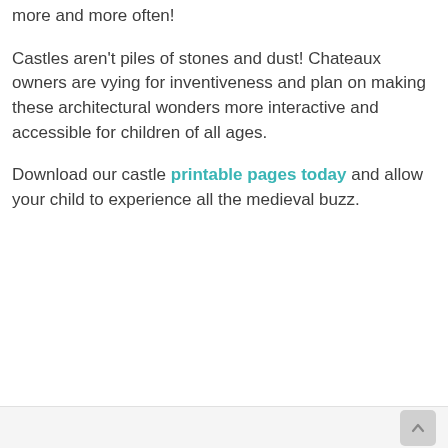more and more often!
Castles aren't piles of stones and dust! Chateaux owners are vying for inventiveness and plan on making these architectural wonders more interactive and accessible for children of all ages.
Download our castle printable pages today and allow your child to experience all the medieval buzz.